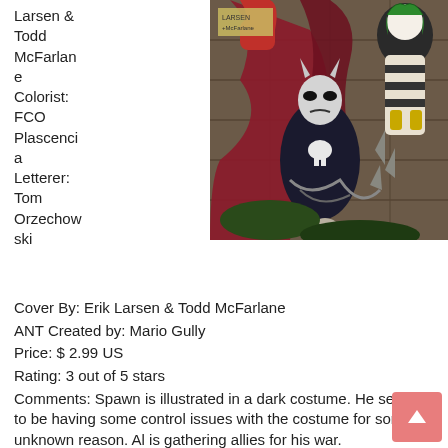Larsen & Todd McFarlane Colorist: FCO Plascencia Letterer: Tom Orzechowski
[Figure (illustration): Comic book cover art showing Spawn in a dark costume with a red cape, surrounded by allies and enemies. Green-haired figure visible in upper right. Action scene with chains and spikes.]
Cover By: Erik Larsen & Todd McFarlane
ANT Created by: Mario Gully
Price: $ 2.99 US
Rating: 3 out of 5 stars
Comments: Spawn is illustrated in a dark costume. He seems to be having some control issues with the costume for some unknown reason. Al is gathering allies for his war.
Than we see her, she jumps out of the page in bright and ...